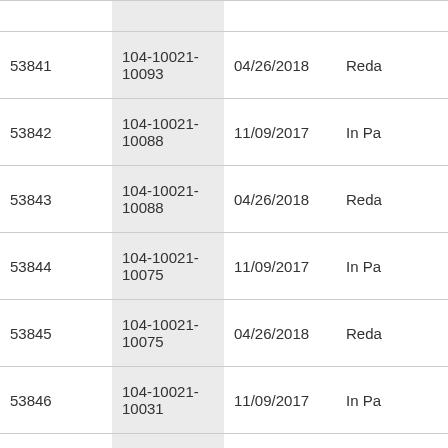| 53841 | 104-10021-10093 | 04/26/2018 | Reda |
| 53842 | 104-10021-10088 | 11/09/2017 | In Pa |
| 53843 | 104-10021-10088 | 04/26/2018 | Reda |
| 53844 | 104-10021-10075 | 11/09/2017 | In Pa |
| 53845 | 104-10021-10075 | 04/26/2018 | Reda |
| 53846 | 104-10021-10031 | 11/09/2017 | In Pa |
| 53847 | 104-10021-10031 | 04/26/2018 | Reda |
| 53848 | 104-10021-10019 | 11/09/2017 | In Pa |